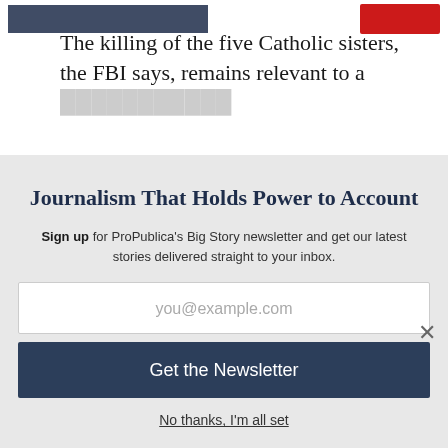The killing of the five Catholic sisters, the FBI says, remains relevant to a [line cut off]
Journalism That Holds Power to Account
Sign up for ProPublica's Big Story newsletter and get our latest stories delivered straight to your inbox.
you@example.com
Get the Newsletter
No thanks, I'm all set
This site is protected by reCAPTCHA and the Google Privacy Policy and Terms of Service apply.